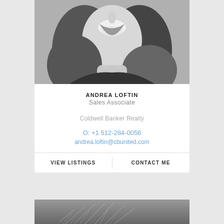[Figure (photo): Black and white close-up portrait photo of a smiling woman with wavy hair]
ANDREA LOFTIN
Sales Associate
Coldwell Banker Realty
O: +1 512-284-0056
andrea.loftin@cbunited.com
VIEW LISTINGS
CONTACT ME
[Figure (photo): Partial black and white landscape or nature photo at the bottom of the page]